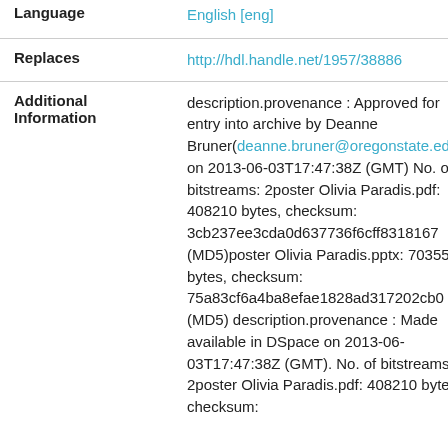| Field | Value |
| --- | --- |
| Language | English [eng] |
| Replaces | http://hdl.handle.net/1957/38886 |
| Additional Information | description.provenance : Approved for entry into archive by Deanne Bruner(deanne.bruner@oregonstate.edu) on 2013-06-03T17:47:38Z (GMT) No. of bitstreams: 2poster Olivia Paradis.pdf: 408210 bytes, checksum: 3cb237ee3cda0d637736f6cff8318167 (MD5)poster Olivia Paradis.pptx: 703550 bytes, checksum: 75a83cf6a4ba8efae1828ad317202cb0 (MD5) description.provenance : Made available in DSpace on 2013-06-03T17:47:38Z (GMT). No. of bitstreams: 2poster Olivia Paradis.pdf: 408210 bytes, checksum: |